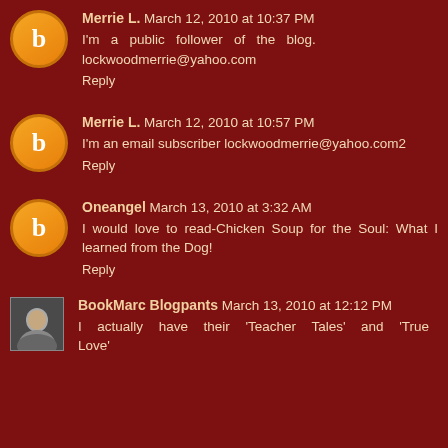Merrie L. March 12, 2010 at 10:37 PM — I'm a public follower of the blog. lockwoodmerrie@yahoo.com — Reply
Merrie L. March 12, 2010 at 10:57 PM — I'm an email subscriber lockwoodmerrie@yahoo.com2 — Reply
Oneangel March 13, 2010 at 3:32 AM — I would love to read-Chicken Soup for the Soul: What I learned from the Dog! — Reply
BookMarc Blogpants March 13, 2010 at 12:12 PM — I actually have their 'Teacher Tales' and 'True Love'